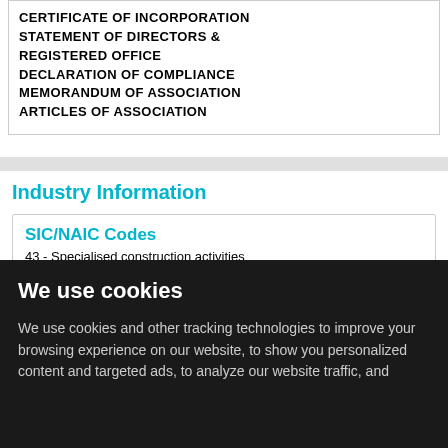CERTIFICATE OF INCORPORATION
STATEMENT OF DIRECTORS & REGISTERED OFFICE
DECLARATION OF COMPLIANCE
MEMORANDUM OF ASSOCIATION
ARTICLES OF ASSOCIATION
Industry Information
SIC/NAIC Codes
43 - Specialised construction activities
We use cookies
We use cookies and other tracking technologies to improve your browsing experience on our website, to show you personalized content and targeted ads, to analyze our website traffic, and